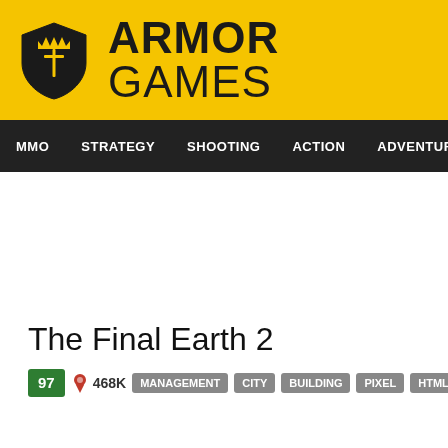ARMOR GAMES
MMO  STRATEGY  SHOOTING  ACTION  ADVENTURE  P
The Final Earth 2
97  468K  MANAGEMENT  CITY  BUILDING  PIXEL  HTML